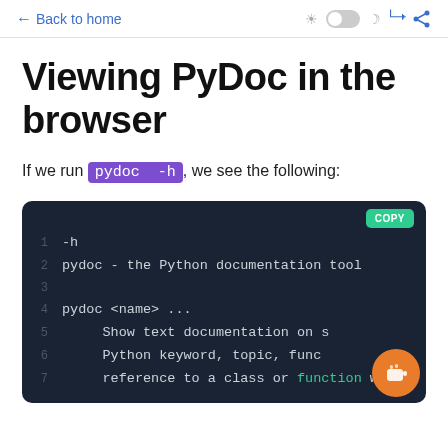← Back to home
Viewing PyDoc in the browser
If we run pydoc -h, we see the following:
[Figure (screenshot): Dark-themed code block showing pydoc -h output with line numbers 1-7. Line 1: -h, Line 2: pydoc - the Python documentation tool, Line 3: (empty), Line 4: pydoc <name> ..., Line 5: Show text documentation on [name], Line 6: Python keyword, topic, func[tion or], Line 7: reference to a class or function w[here]]